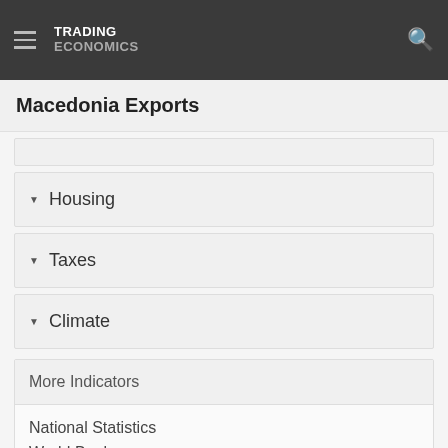TRADING ECONOMICS
Macedonia Exports
Housing
Taxes
Climate
More Indicators
National Statistics
World Bank